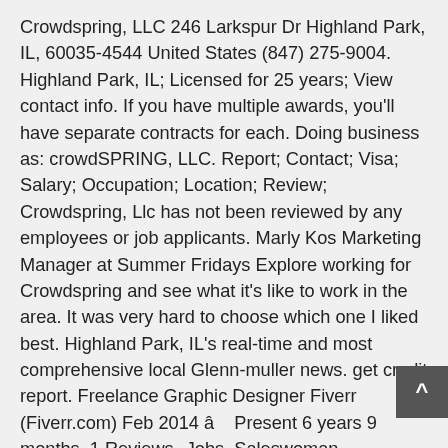Crowdspring, LLC 246 Larkspur Dr Highland Park, IL, 60035-4544 United States (847) 275-9004. Highland Park, IL; Licensed for 25 years; View contact info. If you have multiple awards, you'll have separate contracts for each. Doing business as: crowdSPRING, LLC. Report; Contact; Visa; Salary; Occupation; Location; Review; Crowdspring, Llc has not been reviewed by any employees or job applicants. Marly Kos Marketing Manager at Summer Fridays Explore working for Crowdspring and see what it's like to work in the area. It was very hard to choose which one I liked best. Highland Park, IL's real-time and most comprehensive local Glenn-muller news. get credit report. Freelance Graphic Designer Fiverr (Fiverr.com) Feb 2014 â Present 6 years 9 months. 1 Reviews--Jobs. Saleswoman Parousiasi . Petro has 1 job listed on their profile. Highland Park is a suburban city in Lake County, Illinois, United States, about 25 miles (40 km) north of downtown Chicago. 21 talking about this. View Petro Kuryloâs profile on LinkedIn, the worldâs largest professional community. Highland Park is a city in the Moraine Township of Lake County, Illinois, United States, a suburb of Chicago. Learn how crowdSPRING earns BBB recognition and is rated for excellence in...